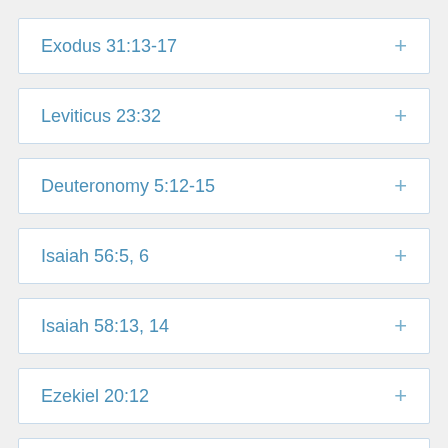Exodus 31:13-17
Leviticus 23:32
Deuteronomy 5:12-15
Isaiah 56:5, 6
Isaiah 58:13, 14
Ezekiel 20:12